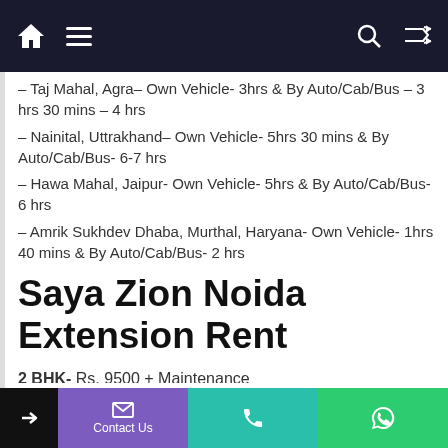Navigation bar with home, menu, search, and shuffle icons
– Taj Mahal, Agra– Own Vehicle- 3hrs  & By Auto/Cab/Bus – 3 hrs 30 mins – 4 hrs
– Nainital, Uttrakhand– Own Vehicle- 5hrs 30 mins & By Auto/Cab/Bus- 6-7 hrs
– Hawa Mahal, Jaipur- Own Vehicle- 5hrs & By Auto/Cab/Bus- 6 hrs
– Amrik Sukhdev Dhaba, Murthal, Haryana- Own Vehicle- 1hrs 40 mins & By Auto/Cab/Bus- 2 hrs
Saya Zion Noida Extension Rent
2 BHK- Rs. 9500 + Maintenance
3 BHK- Rs. 12000 + Maintenance
Contact Us | Phone | WhatsApp